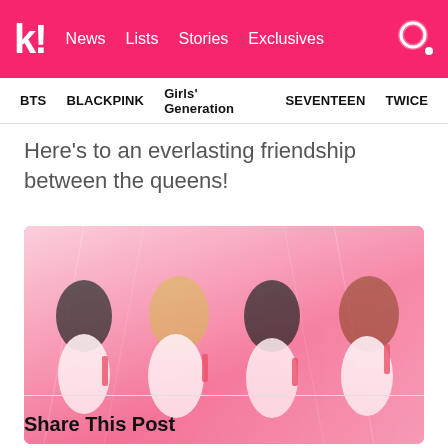k! News Lists Stories Exclusives
BTS   BLACKPINK   Girls' Generation   SEVENTEEN   TWICE
Here's to an everlasting friendship between the queens!
[Figure (photo): Four K-pop female artists posing against a pink background, wearing white outfits and holding props (slingshots). They wear various headpieces including flower crowns and devil horns.]
Share This Post